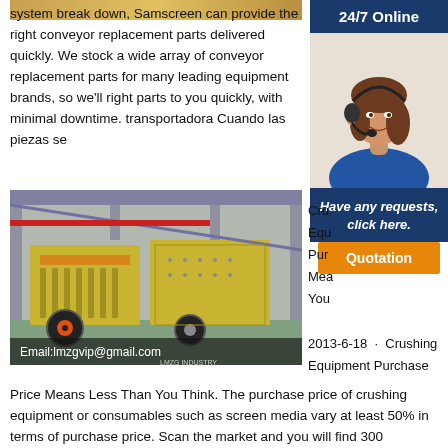[Figure (photo): Top strip image of sandy/earthy material]
system break down, Samscreen can provide the right conveyor replacement parts delivered quickly. We stock a wide array of conveyor replacement parts for many leading equipment brands, so we'll right parts to you quickly, with minimal downtime. transportadora Cuando las piezas se
[Figure (other): 24/7 Online sidebar with photo of woman with headset, 'Have any requests, click here.' text, and Quotation button]
[Figure (photo): Industrial crushing/screening machine in a factory setting with email overlay: Email:lmzgvip@gmail.com]
Cru Equ Pur Mea You 2013-6-18 · Crushing Equipment Purchase
Price Means Less Than You Think. The purchase price of crushing equipment or consumables such as screen media vary at least 50% in terms of purchase price. Scan the market and you will find 300 Horsepower Cone Plants range from $300,000 to $600,000. Screen